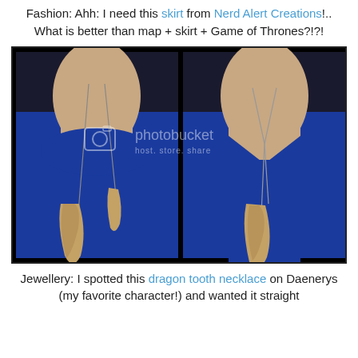Fashion: Ahh: I need this skirt from Nerd Alert Creations!.. What is better than map + skirt + Game of Thrones?!?!
[Figure (photo): Two side-by-side photos of a person wearing a long dragon tooth necklace/pendant on a chain over a royal blue top. A Photobucket watermark is visible in the center reading 'photobucket host. store. share']
Jewellery: I spotted this dragon tooth necklace on Daenerys (my favorite character!) and wanted it straight